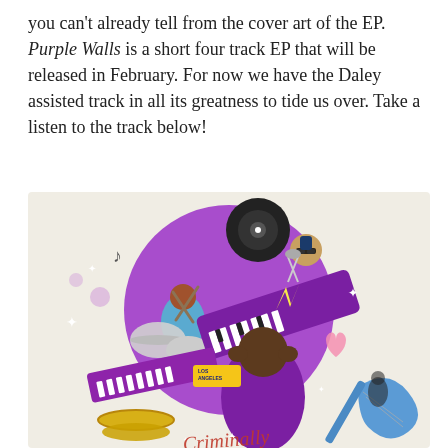you can't already tell from the cover art of the EP. Purple Walls is a short four track EP that will be released in February. For now we have the Daley assisted track in all its greatness to tide us over. Take a listen to the track below!
[Figure (illustration): Colorful illustrated artwork for the Purple Walls EP showing musicians with instruments including keyboards, drums, guitar, and a vinyl record, set against a purple circular background with sparkles and a Los Angeles theme. A central figure in purple holds their head, surrounded by other stylized musicians.]